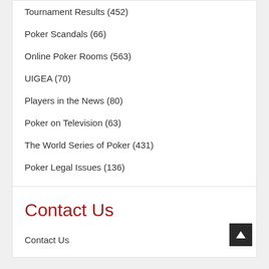Tournament Results (452)
Poker Scandals (66)
Online Poker Rooms (563)
UIGEA (70)
Players in the News (80)
Poker on Television (63)
The World Series of Poker (431)
Poker Legal Issues (136)
Other Poker News (229)
Miscellaneous King Articles (88)
Contact Us
Contact Us